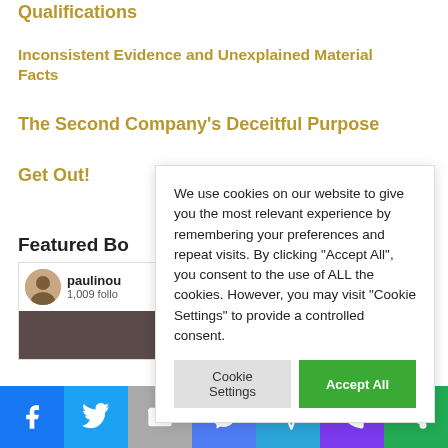Qualifications
Inconsistent Evidence and Unexplained Material Facts
The Second Company's Deceitful Purpose
Get Out!
Featured Bo
paulinou
1,009 follo
We use cookies on our website to give you the most relevant experience by remembering your preferences and repeat visits. By clicking "Accept All", you consent to the use of ALL the cookies. However, you may visit "Cookie Settings" to provide a controlled consent.
Cookie Settings | Accept All